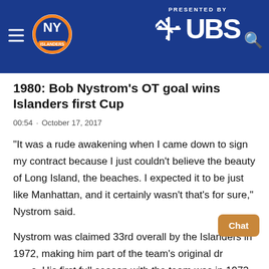NY Islanders | PRESENTED BY UBS
1980: Bob Nystrom's OT goal wins Islanders first Cup
00:54 · October 17, 2017
"It was a rude awakening when I came down to sign my contract because I just couldn't believe the beauty of Long Island, the beaches. I expected it to be just like Manhattan, and it certainly wasn't that's for sure," Nystrom said.
Nystrom was claimed 33rd overall by the Islanders in 1972, making him part of the team's original draft class. His first full season with the team was in 1973-74 where